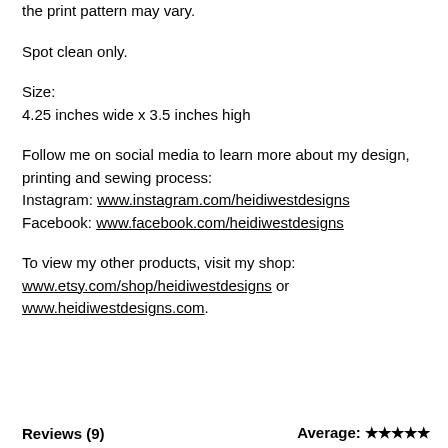the print pattern may vary.
Spot clean only.
Size:
4.25 inches wide x 3.5 inches high
Follow me on social media to learn more about my design, printing and sewing process:
Instagram: www.instagram.com/heidiwestdesigns
Facebook: www.facebook.com/heidiwestdesigns
To view my other products, visit my shop:
www.etsy.com/shop/heidiwestdesigns or www.heidiwestdesigns.com.
Reviews (9)    Average: ★★★★★